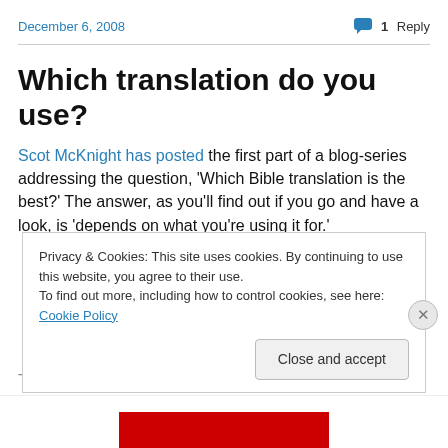December 6, 2008   1 Reply
Which translation do you use?
Scot McKnight has posted the first part of a blog-series addressing the question, 'Which Bible translation is the best?' The answer, as you'll find out if you go and have a look, is 'depends on what you're using it for.'
Privacy & Cookies: This site uses cookies. By continuing to use this website, you agree to their use. To find out more, including how to control cookies, see here: Cookie Policy